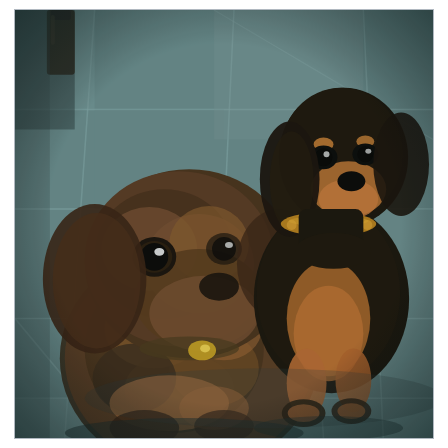[Figure (photo): Two dachshund dogs sitting on a tiled floor, looking up at the camera. The dog on the left is closer to the camera and appears blurred/out of focus with a dapple/merle coat pattern. The dog on the right is in focus with a black and tan coat and wearing a gold/yellow collar. Both dogs are facing upward toward the camera. A dark bottle is visible in the upper left corner. The floor is composed of large slate-gray tiles with lighter grout lines.]